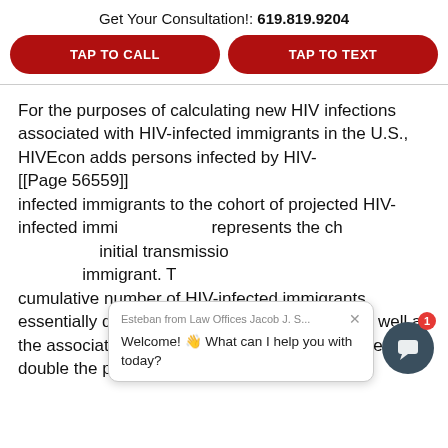Get Your Consultation!: 619.819.9204
TAP TO CALL
TAP TO TEXT
For the purposes of calculating new HIV infections associated with HIV-infected immigrants in the U.S., HIVEcon adds persons infected by HIV-
[[Page 56559]]
infected immigrants to the cohort of projected HIV-infected immigrants. This represents the change in the number of initial transmissions due to each HIV-infected immigrant. Thus, in the next year, though the cumulative number of HIV-infected immigrants essentially doubles, the number of new HIV (as well as the associated treatment costs) will slightly more than double the previous year